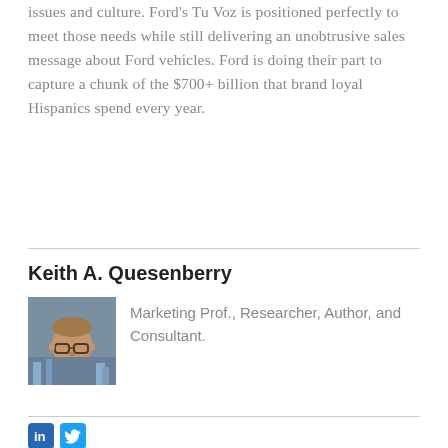issues and culture. Ford's Tu Voz is positioned perfectly to meet those needs while still delivering an unobtrusive sales message about Ford vehicles. Ford is doing their part to capture a chunk of the $700+ billion that brand loyal Hispanics spend every year.
Keith A. Quesenberry
[Figure (photo): Headshot of Keith A. Quesenberry, a man wearing glasses and a dark suit jacket]
Marketing Prof., Researcher, Author, and Consultant.
[Figure (logo): LinkedIn and Twitter social media icons]